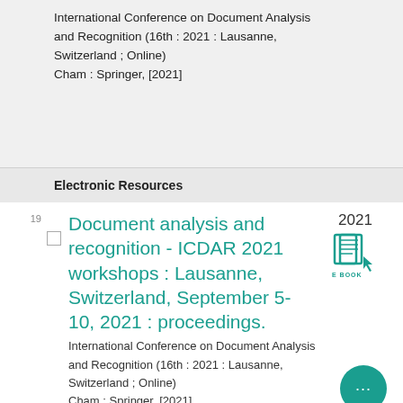International Conference on Document Analysis and Recognition (16th : 2021 : Lausanne, Switzerland ; Online)
Cham : Springer, [2021]
Electronic Resources
Document analysis and recognition - ICDAR 2021 workshops : Lausanne, Switzerland, September 5-10, 2021 : proceedings.
International Conference on Document Analysis and Recognition (16th : 2021 : Lausanne, Switzerland ; Online)
Cham : Springer, [2021]
[Figure (illustration): E-book icon in teal color with text 'E BOOK' below]